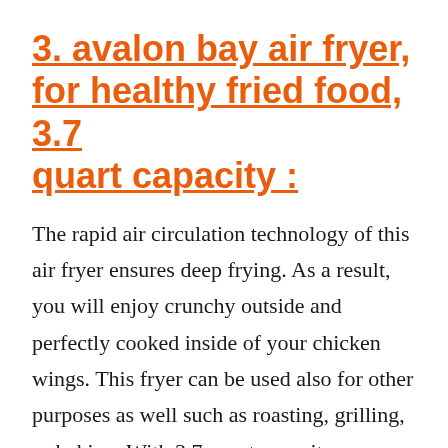3. avalon bay air fryer, for healthy fried food, 3.7 quart capacity :
The rapid air circulation technology of this air fryer ensures deep frying. As a result, you will enjoy crunchy outside and perfectly cooked inside of your chicken wings. This fryer can be used also for other purposes as well such as roasting, grilling, or baking. With 3.7-quart capacity, you can cook